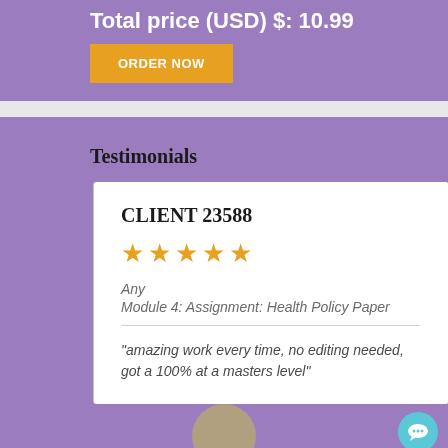Total price (USD) $: 10.99
ORDER NOW
Testimonials
CLIENT 23588
★★★★★
Any
Module 4: Assignment: Health Policy Paper
"amazing work every time, no editing needed, got a 100% at a masters level"